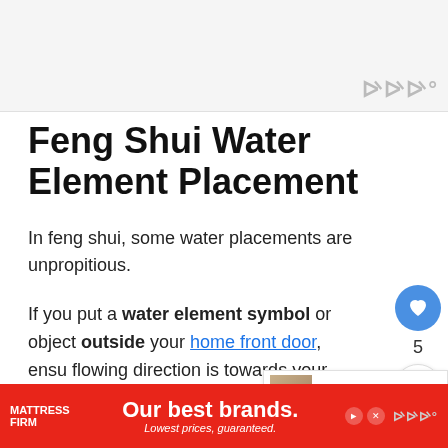[Figure (screenshot): Top advertisement banner area, light gray background with Wattpad-style logo in bottom right corner]
Feng Shui Water Element Placement
In feng shui, some water placements are unpropitious.
If you put a water element symbol or object outside your home front door, ensure the flowing direction is towards your home, not away
[Figure (screenshot): What's Next card showing: WHAT'S NEXT arrow, Best 21 Feng Shui... with thumbnail image]
[Figure (screenshot): Bottom advertisement banner: Mattress Firm - Our best brands. Lowest prices, guaranteed.]